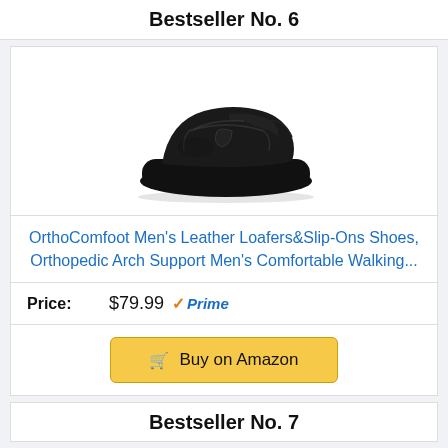Bestseller No. 6
[Figure (photo): Black slip-on loafer shoe (OrthoComfoot Men's Leather Loafer) shown from a side/front angle on white background]
OrthoComfoot Men's Leather Loafers&Slip-Ons Shoes, Orthopedic Arch Support Men's Comfortable Walking...
Price: $79.99 Prime
Buy on Amazon
Bestseller No. 7